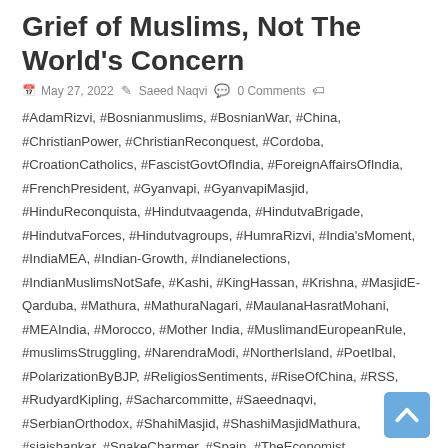Grief of Muslims, Not The World's Concern
May 27, 2022  Saeed Naqvi  0 Comments
#AdamRizvi, #Bosnianmuslims, #BosnianWar, #China, #ChristianPower, #ChristianReconquest, #Cordoba, #CroationCatholics, #FascistGovtOfIndia, #ForeignAffairsOfIndia, #FrenchPresident, #Gyanvapi, #GyanvapiMasjid, #HinduReconquista, #Hindutvaagenda, #HindutvaBrigade, #HindutvaForces, #Hindutvagroups, #HumraRizvi, #India'sMoment, #IndiaMEA, #Indian-Growth, #Indianelections, #IndianMuslimsNotSafe, #Kashi, #KingHassan, #Krishna, #MasjidE-Qarduba, #Mathura, #MathuraNagari, #MaulanaHasratMohani, #MEAIndia, #Morocco, #Mother India, #MuslimandEuropeanRule, #muslimsStruggling, #NarendraModi, #NortherIsland, #PoetIbal, #PolarizationByBJP, #ReligiosSentiments, #RiseOfChina, #RSS, #RudyardKipling, #Sacharcommitte, #Saeednaqvi, #SerbianOrthodox, #ShahiMasjid, #ShashiMasjidMathura, #sjaishankar, #SnakeCharmer, #Spain, #TheEconomist,